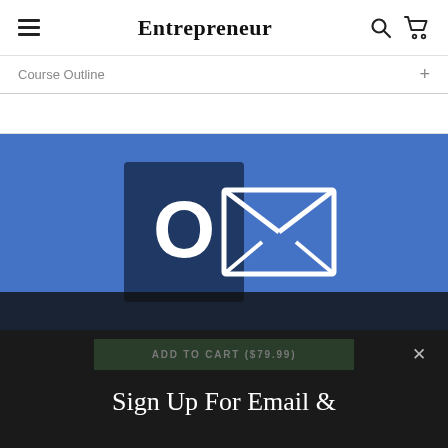Entrepreneur
Course Outline +
[Figure (logo): Microsoft Outlook logo on blue background — dark blue rectangle with white letter O and white envelope icon]
ADD TO CART ($79.99)
Sign Up For Email &